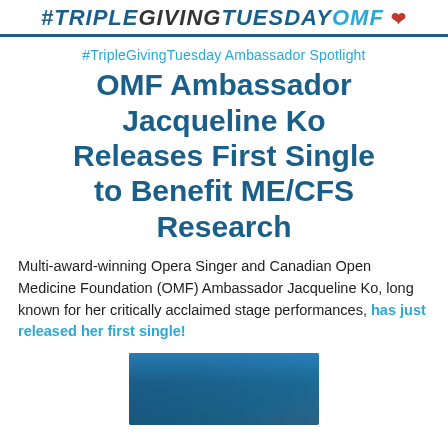#TRIPLEGIVINGTUESDAYOMF ♥
#TripleGivingTuesday Ambassador Spotlight
OMF Ambassador Jacqueline Ko Releases First Single to Benefit ME/CFS Research
Multi-award-winning Opera Singer and Canadian Open Medicine Foundation (OMF) Ambassador Jacqueline Ko, long known for her critically acclaimed stage performances, has just released her first single!
[Figure (photo): Partial photo of Jacqueline Ko at the bottom of the page]